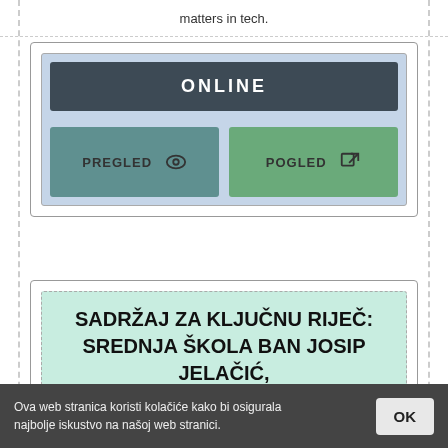matters in tech.
[Figure (screenshot): UI widget showing ONLINE label with PREGLED (eye icon) and POGLED (external link icon) buttons on a blue-grey background]
SADRŽAJ ZA KLJUČNU RIJEČ: SREDNJA ŠKOLA BAN JOSIP JELAČIĆ, ZAPREŠIĆ
https://old.skolskiportal.hr/kljucne-rijeci/Srednja...
Ova web stranica koristi kolačiće kako bi osigurala najbolje iskustvo na našoj web stranici.